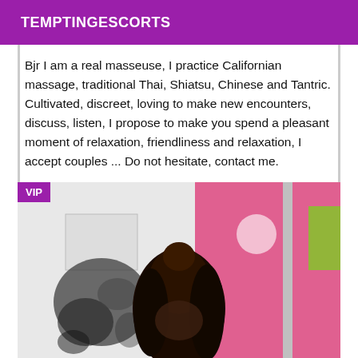TEMPTINGESCORTS
Bjr I am a real masseuse, I practice Californian massage, traditional Thai, Shiatsu, Chinese and Tantric. Cultivated, discreet, loving to make new encounters, discuss, listen, I propose to make you spend a pleasant moment of relaxation, friendliness and relaxation, I accept couples ... Do not hesitate, contact me.
[Figure (photo): Photo of a woman with curly black hair in a room with a pink wall and decorative artwork. A VIP badge is shown in the top-left corner.]